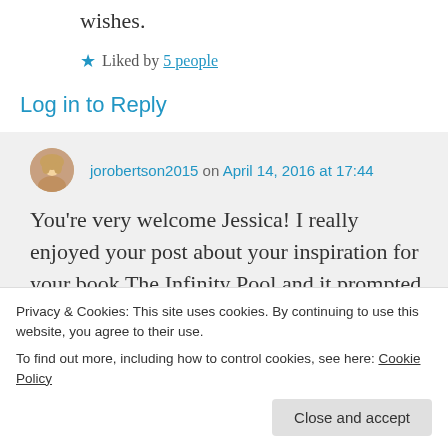wishes.
★ Liked by 5 people
Log in to Reply
jorobertson2015 on April 14, 2016 at 17:44
You're very welcome Jessica! I really enjoyed your post about your inspiration for your book The Infinity Pool and it prompted
Privacy & Cookies: This site uses cookies. By continuing to use this website, you agree to their use.
To find out more, including how to control cookies, see here: Cookie Policy